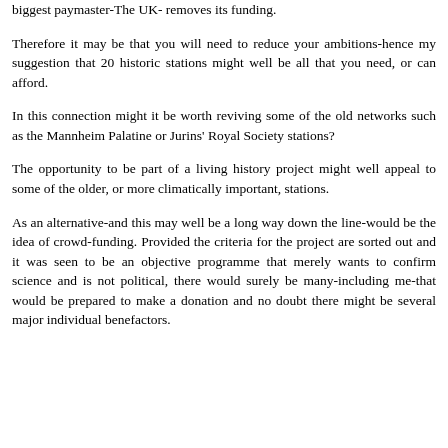biggest paymaster-The UK- removes its funding.
Therefore it may be that you will need to reduce your ambitions-hence my suggestion that 20 historic stations might well be all that you need, or can afford.
In this connection might it be worth reviving some of the old networks such as the Mannheim Palatine or Jurins' Royal Society stations?
The opportunity to be part of a living history project might well appeal to some of the older, or more climatically important, stations.
As an alternative-and this may well be a long way down the line-would be the idea of crowd-funding. Provided the criteria for the project are sorted out and it was seen to be an objective programme that merely wants to confirm science and is not political, there would surely be many-including me-that would be prepared to make a donation and no doubt there might be several major individual benefactors.